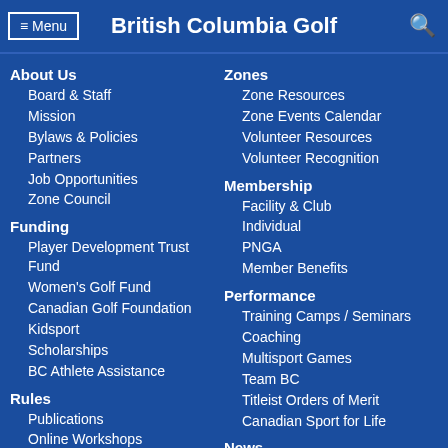British Columbia Golf
About Us
Board & Staff
Mission
Bylaws & Policies
Partners
Job Opportunities
Zone Council
Zones
Zone Resources
Zone Events Calendar
Volunteer Resources
Volunteer Recognition
Funding
Player Development Trust Fund
Women's Golf Fund
Canadian Golf Foundation
Kidsport
Scholarships
BC Athlete Assistance
Membership
Facility & Club
Individual
PNGA
Member Benefits
Rules
Publications
Online Workshops
Updates
FAQ
Performance
Training Camps / Seminars
Coaching
Multisport Games
Team BC
Titleist Orders of Merit
Canadian Sport for Life
Participation
Recreational Golf
News
Media Centre